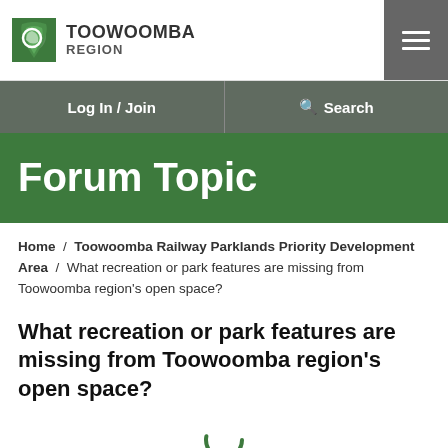[Figure (logo): Toowoomba Region council logo with green leaf/shield icon and text TOOWOOMBA REGION]
Log In / Join   Search
Forum Topic
Home / Toowoomba Railway Parklands Priority Development Area / What recreation or park features are missing from Toowoomba region's open space?
What recreation or park features are missing from Toowoomba region's open space?